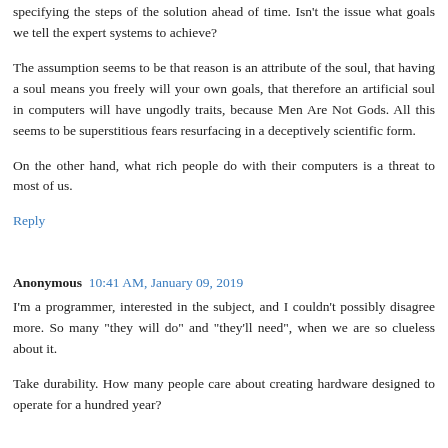specifying the steps of the solution ahead of time. Isn't the issue what goals we tell the expert systems to achieve?
The assumption seems to be that reason is an attribute of the soul, that having a soul means you freely will your own goals, that therefore an artificial soul in computers will have ungodly traits, because Men Are Not Gods. All this seems to be superstitious fears resurfacing in a deceptively scientific form.
On the other hand, what rich people do with their computers is a threat to most of us.
Reply
Anonymous 10:41 AM, January 09, 2019
I'm a programmer, interested in the subject, and I couldn't possibly disagree more. So many "they will do" and "they'll need", when we are so clueless about it.
Take durability. How many people care about creating hardware designed to operate for a hundred year?